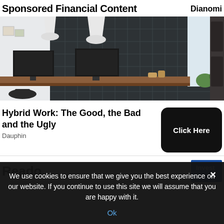Sponsored Financial Content
[Figure (photo): Office workspace with two monitors on a wooden desk, suspended white lamps, and a large blackboard grid wall in the background. Bright, airy setting with plants near a window.]
Hybrid Work: The Good, the Bad and the Ugly
Dauphin
Click Here
We use cookies to ensure that we give you the best experience on our website. If you continue to use this site we will assume that you are happy with it.
Ok